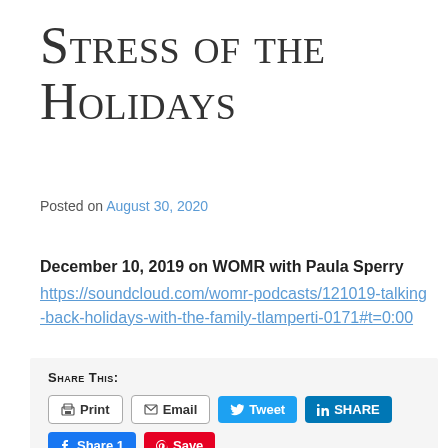Stress of the Holidays
Posted on August 30, 2020
December 10, 2019 on WOMR with Paula Sperry
https://soundcloud.com/womr-podcasts/121019-talking-back-holidays-with-the-family-tlamperti-0171#t=0:00
SHARE THIS: Print Email Tweet SHARE Share 1 Save